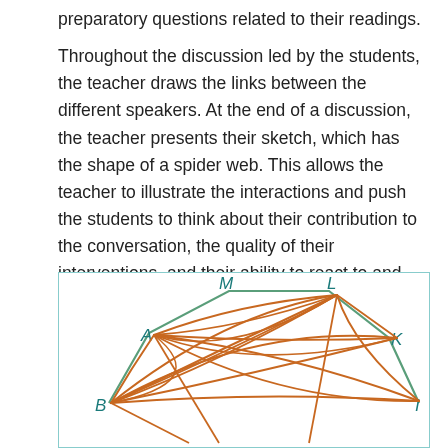preparatory questions related to their readings.
Throughout the discussion led by the students, the teacher draws the links between the different speakers. At the end of a discussion, the teacher presents their sketch, which has the shape of a spider web. This allows the teacher to illustrate the interactions and push the students to think about their contribution to the conversation, the quality of their interventions, and their ability to react to and build upon the ideas shared by their peers.
[Figure (network-graph): A hand-drawn spider web diagram showing connections between labeled nodes (A, B, K, I, M, L) with green outer polygon lines and orange inner connecting lines representing student discussion interactions.]